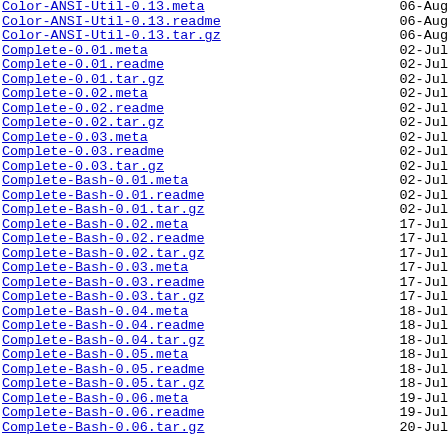Color-ANSI-Util-0.13.meta  06-Aug
Color-ANSI-Util-0.13.readme  06-Aug
Color-ANSI-Util-0.13.tar.gz  06-Aug
Complete-0.01.meta  02-Jul
Complete-0.01.readme  02-Jul
Complete-0.01.tar.gz  02-Jul
Complete-0.02.meta  02-Jul
Complete-0.02.readme  02-Jul
Complete-0.02.tar.gz  02-Jul
Complete-0.03.meta  02-Jul
Complete-0.03.readme  02-Jul
Complete-0.03.tar.gz  02-Jul
Complete-Bash-0.01.meta  02-Jul
Complete-Bash-0.01.readme  02-Jul
Complete-Bash-0.01.tar.gz  02-Jul
Complete-Bash-0.02.meta  17-Jul
Complete-Bash-0.02.readme  17-Jul
Complete-Bash-0.02.tar.gz  17-Jul
Complete-Bash-0.03.meta  17-Jul
Complete-Bash-0.03.readme  17-Jul
Complete-Bash-0.03.tar.gz  17-Jul
Complete-Bash-0.04.meta  18-Jul
Complete-Bash-0.04.readme  18-Jul
Complete-Bash-0.04.tar.gz  18-Jul
Complete-Bash-0.05.meta  18-Jul
Complete-Bash-0.05.readme  18-Jul
Complete-Bash-0.05.tar.gz  18-Jul
Complete-Bash-0.06.meta  19-Jul
Complete-Bash-0.06.readme  19-Jul
Complete-Bash-0.06.tar.gz  20-Jul